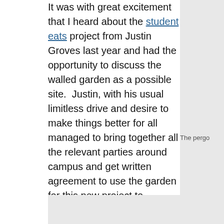It was with great excitement that I heard about the student eats project from Justin Groves last year and had the opportunity to discuss the walled garden as a possible site.  Justin, with his usual limitless drive and desire to make things better for all managed to bring together all the relevant parties around campus and get written agreement to use the garden for this new project to encourage students to grow their own vegetables under the Student Eats Botanika Society.  Justin's hard work on this and other projects got him recognition as Student Volunteer of the Year by RUSU in 2012/13.  The amazing work done by the Student Eats project and the student volunteers who featured in the Reading Chronicle.
The pergo